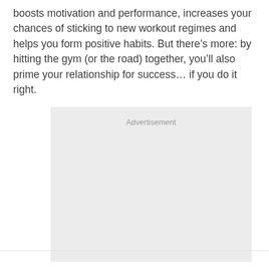boosts motivation and performance, increases your chances of sticking to new workout regimes and helps you form positive habits. But there’s more: by hitting the gym (or the road) together, you’ll also prime your relationship for success… if you do it right.
[Figure (other): Advertisement placeholder box with light grey background and 'Advertisement' label at the top center]